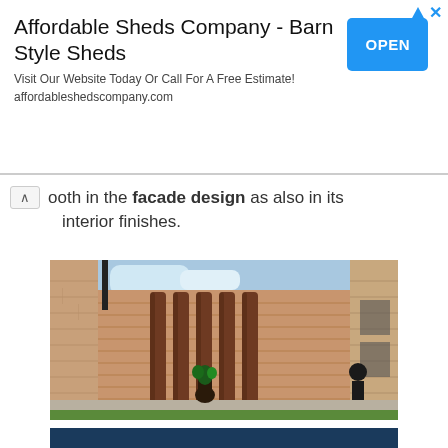[Figure (screenshot): Advertisement banner for 'Affordable Sheds Company - Barn Style Sheds' with an OPEN button and blue triangle/close icons]
ooth in the facade design as also in its interior finishes.
[Figure (photo): Exterior photo of a brick building facade with vertical cylindrical columns/fins, a person walking on the right, a potted plant in the center, and a courtyard area]
[Figure (screenshot): Partial bottom strip of a dark navy blue bar, likely another image or section beginning]